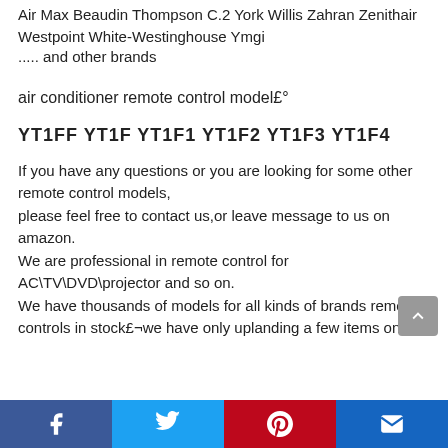Air Max Beaudin Thompson C.2 York Willis Zahran Zenithair Westpoint White-Westinghouse Ymgi
..... and other brands
air conditioner remote control model£°
YT1FF YT1F YT1F1 YT1F2 YT1F3 YT1F4
If you have any questions or you are looking for some other remote control models,
please feel free to contact us,or leave message to us on amazon.
We are professional in remote control for AC\TV\DVD\projector and so on.
We have thousands of models for all kinds of brands remote controls in stock£¬we have only uplanding a few items on
[Facebook] [Twitter] [Pinterest] [Email]